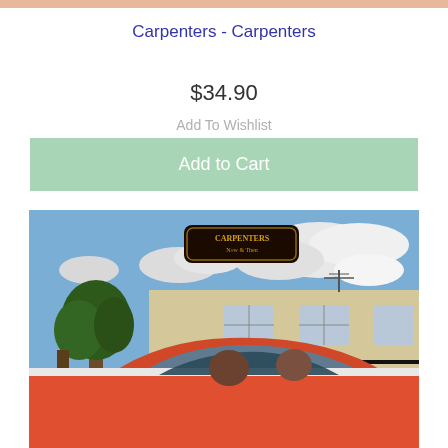Carpenters - Carpenters
$34.90
Add To Wishlist
Add to Cart
[Figure (photo): Album cover for Carpenters 'Now & Then' showing two people in an orange/red car parked in front of a house with trees and cloudy sky. A dark logo sign reading 'Carpenters Now & Then' is visible at the top.]